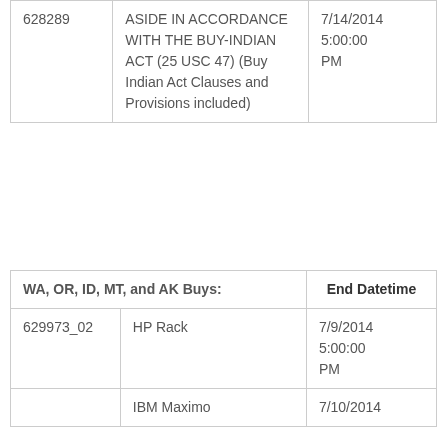| ID | Description | End Datetime |
| --- | --- | --- |
| 628289 | ASIDE IN ACCORDANCE WITH THE BUY-INDIAN ACT (25 USC 47) (Buy Indian Act Clauses and Provisions included) | 7/14/2014 5:00:00 PM |
| WA, OR, ID, MT, and AK Buys: |  | End Datetime |
| --- | --- | --- |
| 629973_02 | HP Rack | 7/9/2014 5:00:00 PM |
|  | IBM Maximo | 7/10/2014 |